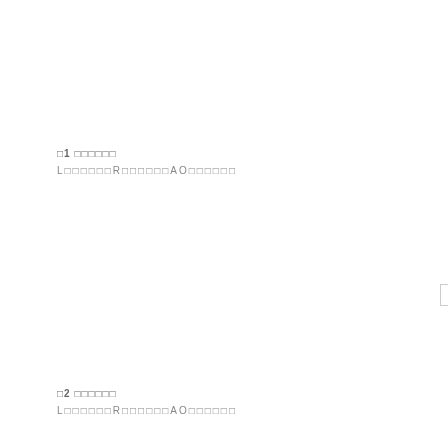□1 □□□□□□
L□□□□□□R□□□□□□AO□□□□□□
[Figure (other): Empty white rectangle/box with border]
□2 □□□□□□
L□□□□□□R□□□□□□AO□□□□□□